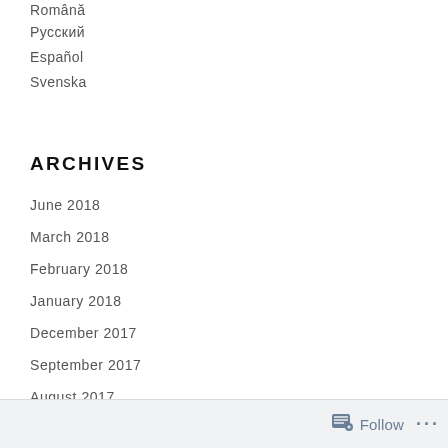Română
Русский
Español
Svenska
ARCHIVES
June 2018
March 2018
February 2018
January 2018
December 2017
September 2017
August 2017
July 2017
Follow ...